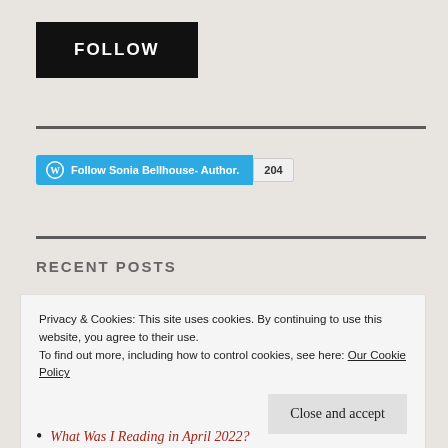[Figure (other): Black button with white bold text 'FOLLOW']
[Figure (other): WordPress Follow button widget for 'Follow Sonia Bellhouse- Author.' with follower count 204]
RECENT POSTS
Privacy & Cookies: This site uses cookies. By continuing to use this website, you agree to their use.
To find out more, including how to control cookies, see here: Our Cookie Policy
[Figure (other): Close and accept button]
What Was I Reading in April 2022?